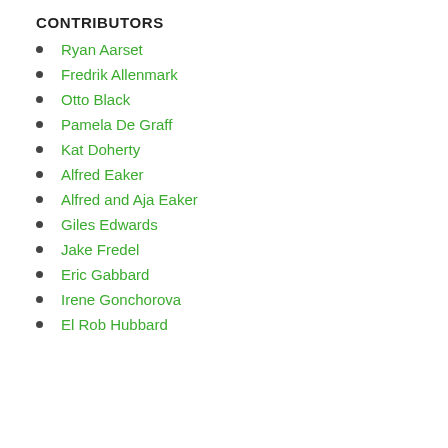CONTRIBUTORS
Ryan Aarset
Fredrik Allenmark
Otto Black
Pamela De Graff
Kat Doherty
Alfred Eaker
Alfred and Aja Eaker
Giles Edwards
Jake Fredel
Eric Gabbard
Irene Gonchorova
El Rob Hubbard